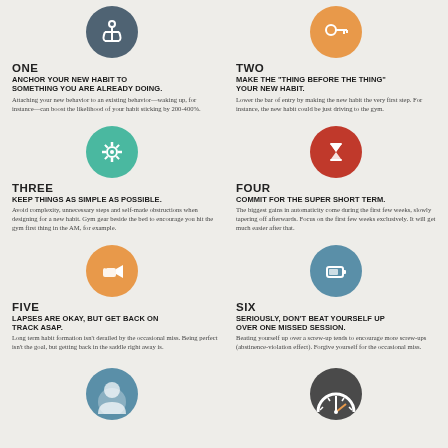[Figure (infographic): Anchor icon in dark blue-grey circle]
[Figure (infographic): Key icon in orange circle]
ONE
ANCHOR YOUR NEW HABIT TO SOMETHING YOU ARE ALREADY DOING.
Attaching your new behavior to an existing behavior—waking up, for instance—can boost the likelihood of your habit sticking by 200-400%.
TWO
MAKE THE "THING BEFORE THE THING" YOUR NEW HABIT.
Lower the bar of entry by making the new habit the very first step. For instance, the new habit could be just driving to the gym.
[Figure (infographic): Gear/settings icon in teal circle]
[Figure (infographic): Hourglass icon in red circle]
THREE
KEEP THINGS AS SIMPLE AS POSSIBLE.
Avoid complexity, unnecessary steps and self-made obstructions when designing for a new habit. Gym gear beside the bed to encourage you hit the gym first thing in the AM, for example.
FOUR
COMMIT FOR THE SUPER SHORT TERM.
The biggest gains in automaticity come during the first few weeks, slowly tapering off afterwards. Focus on the first few weeks exclusively. It will get much easier after that.
[Figure (infographic): Projector/video icon in orange circle]
[Figure (infographic): Battery/device icon in steel blue circle]
FIVE
LAPSES ARE OKAY, BUT GET BACK ON TRACK ASAP.
Long term habit formation isn't derailed by the occasional miss. Being perfect isn't the goal, but getting back in the saddle right away is.
SIX
SERIOUSLY, DON'T BEAT YOURSELF UP OVER ONE MISSED SESSION.
Beating yourself up over a screw-up tends to encourage more screw-ups (abstinence-violation effect). Forgive yourself for the occasional miss.
[Figure (infographic): Person/user icon in blue circle (partial, bottom)]
[Figure (infographic): Speedometer/gauge icon in dark grey circle (partial, bottom)]